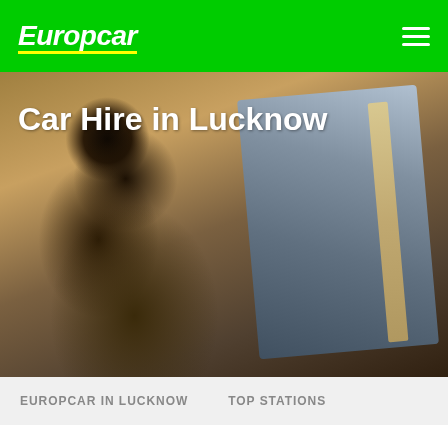Europcar
[Figure (photo): Hero image of a person with curly hair and sunglasses leaning out of a car window, warm toned photo]
Car Hire in Lucknow
EUROPCAR IN LUCKNOW   TOP STATIONS